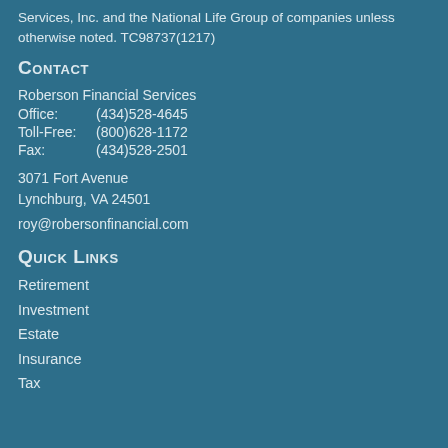Services, Inc. and the National Life Group of companies unless otherwise noted. TC98737(1217)
Contact
Roberson Financial Services
Office:      (434)528-4645
Toll-Free:  (800)628-1172
Fax:          (434)528-2501
3071 Fort Avenue
Lynchburg, VA 24501
roy@robersonfinancial.com
Quick Links
Retirement
Investment
Estate
Insurance
Tax